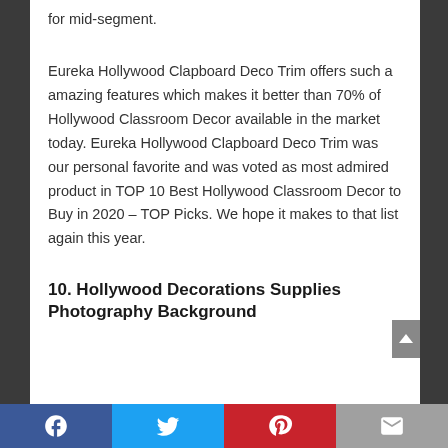for mid-segment.
Eureka Hollywood Clapboard Deco Trim offers such a amazing features which makes it better than 70% of Hollywood Classroom Decor available in the market today. Eureka Hollywood Clapboard Deco Trim was our personal favorite and was voted as most admired product in TOP 10 Best Hollywood Classroom Decor to Buy in 2020 – TOP Picks. We hope it makes to that list again this year.
10. Hollywood Decorations Supplies Photography Background
[Figure (other): Social media share buttons footer bar: Facebook, Twitter, Pinterest, Email]